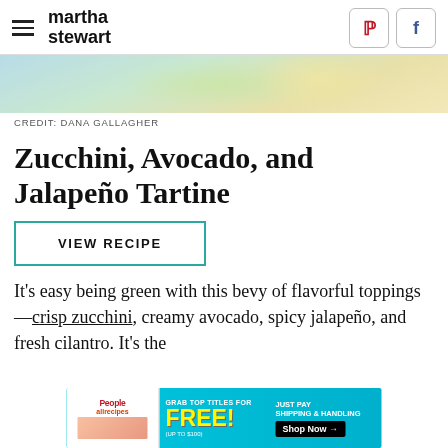martha stewart
[Figure (photo): Food photo showing zucchini avocado tartine dish on a light blue background]
CREDIT: DANA GALLAGHER
Zucchini, Avocado, and Jalapeño Tartine
VIEW RECIPE
It's easy being green with this bevy of flavorful toppings—crisp zucchini, creamy avocado, spicy jalapeño, and fresh cilantro. It's the
[Figure (photo): Advertisement banner: Grab top titles for FREE (up to $100) Just pay shipping & handling. Shop Now. Features People and allrecipes magazines.]